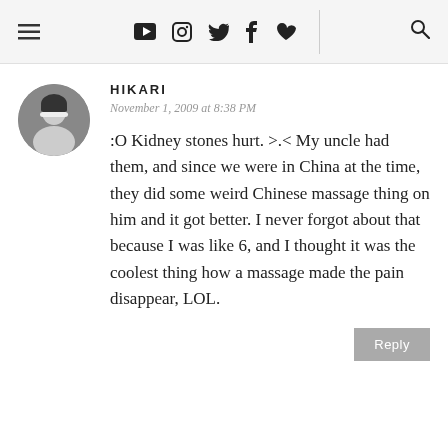≡ ▶ 📷 🐦 f ♥ 🔍
HIKARI
November 1, 2009 at 8:38 PM
:O Kidney stones hurt. >.< My uncle had them, and since we were in China at the time, they did some weird Chinese massage thing on him and it got better. I never forgot about that because I was like 6, and I thought it was the coolest thing how a massage made the pain disappear, LOL.
Reply